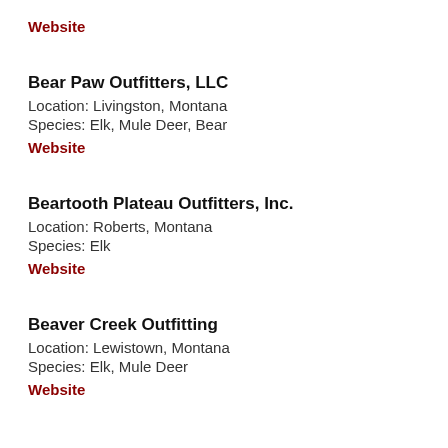Website
Bear Paw Outfitters, LLC
Location: Livingston, Montana
Species: Elk, Mule Deer, Bear
Website
Beartooth Plateau Outfitters, Inc.
Location: Roberts, Montana
Species: Elk
Website
Beaver Creek Outfitting
Location: Lewistown, Montana
Species: Elk, Mule Deer
Website